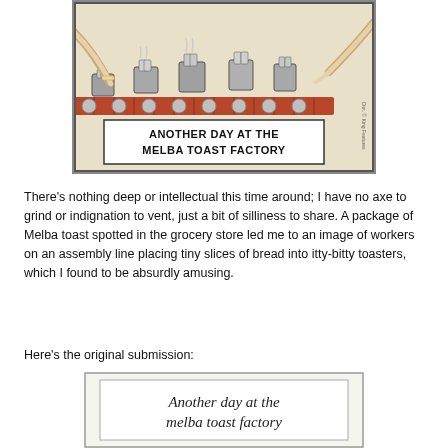[Figure (illustration): Cartoon comic panel showing workers on an assembly line placing tiny slices of bread into small toasters. Caption reads: ANOTHER DAY AT THE MELBA TOAST FACTORY]
There's nothing deep or intellectual this time around; I have no axe to grind or indignation to vent, just a bit of silliness to share. A package of Melba toast spotted in the grocery store led me to an image of workers on an assembly line placing tiny slices of bread into itty-bitty toasters, which I found to be absurdly amusing.
Here's the original submission:
[Figure (illustration): Handwritten sketch on paper reading: Another day at the melba toast factory]